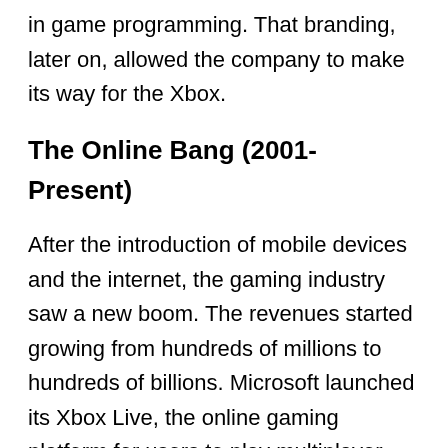Similarly, Microsoft introduced its DirectX API to help in game programming. That branding, later on, allowed the company to make its way for the Xbox.
The Online Bang (2001-Present)
After the introduction of mobile devices and the internet, the gaming industry saw a new boom. The revenues started growing from hundreds of millions to hundreds of billions. Microsoft launched its Xbox Live, the online gaming platform for users to play multiplayer games with voice chat in return for a subscription fee. That was a huge success and marked the beginning of the new era.